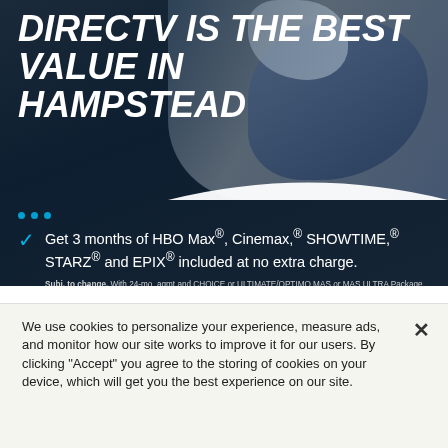DIRECTV IS THE BEST VALUE IN HAMPSTEAD
Get 3 months of HBO Max®, Cinemax,® SHOWTIME,® STARZ® and EPIX® included at no extra charge.
Subj. to change. With 24-mo. agmt and CHOICE or ULTIMATE/OPTIMO MAS or MAS ULTRA Package (min. $69.99/mo. for 12 mo. before discounts. Price higher in 2nd year. Regional Sports Fee up to $11.99/mo. applies). HBO Max, Cinemax®, SHOWTIME®, STARZ®, and EPIX® are included for 3 months and auto-renews thereafter at then prevailing rates (currently $14.99/mo. for HBO Max, $10.99/mo. each for Cinemax, SHOWTIME or STARZ and $5.99/mo. for EPIX), unless you call to change or cancel. Req's you to select offers.
Genie® HD DVR included
DIRECTV ENTERTAINMENT Package
$N/Z99
We use cookies to personalize your experience, measure ads, and monitor how our site works to improve it for our users. By clicking "Accept" you agree to the storing of cookies on your device, which will get you the best experience on our site.